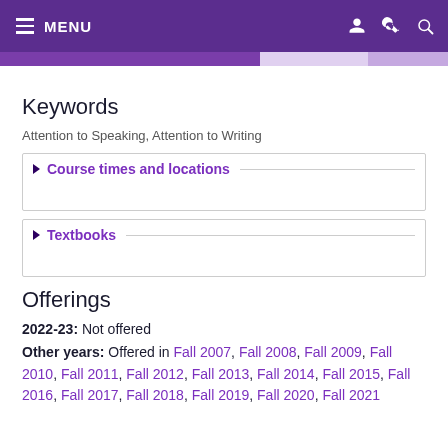MENU
Keywords
Attention to Speaking, Attention to Writing
Course times and locations
Textbooks
Offerings
2022-23: Not offered
Other years: Offered in Fall 2007, Fall 2008, Fall 2009, Fall 2010, Fall 2011, Fall 2012, Fall 2013, Fall 2014, Fall 2015, Fall 2016, Fall 2017, Fall 2018, Fall 2019, Fall 2020, Fall 2021